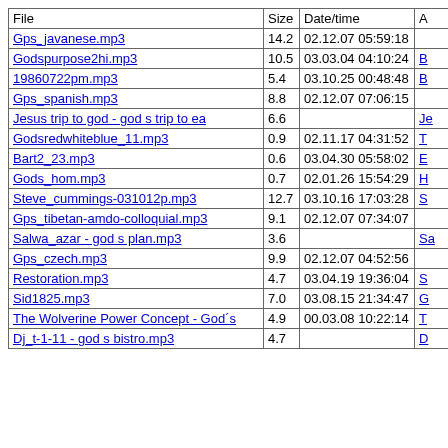| File | Size | Date/time | A |
| --- | --- | --- | --- |
| Gps_javanese.mp3 | 14.2 | 02.12.07 05:59:18 |  |
| Godspurpose2hi.mp3 | 10.5 | 03.03.04 04:10:24 | B |
| 19860722pm.mp3 | 5.4 | 03.10.25 00:48:48 | B |
| Gps_spanish.mp3 | 8.8 | 02.12.07 07:06:15 |  |
| Jesus trip to god - god s trip to ea | 6.6 |  | Je |
| Godsredwhiteblue_11.mp3 | 0.9 | 02.11.17 04:31:52 | T |
| Bart2_23.mp3 | 0.6 | 03.04.30 05:58:02 | E |
| Gods_hom.mp3 | 0.7 | 02.01.26 15:54:29 | H |
| Steve_cummings-031012p.mp3 | 12.7 | 03.10.16 17:03:28 | S |
| Gps_tibetan-amdo-colloquial.mp3 | 9.1 | 02.12.07 07:34:07 |  |
| Salwa_azar - god s plan.mp3 | 3.6 |  | Sa |
| Gps_czech.mp3 | 9.9 | 02.12.07 04:52:56 |  |
| Restoration.mp3 | 4.7 | 03.04.19 19:36:04 | S |
| Sid1825.mp3 | 7.0 | 03.08.15 21:34:47 | G |
| The Wolverine Power Concept - God´s | 4.9 | 00.03.08 10:22:14 | T |
| Dj_t-1-11 - god s bistro.mp3 | 4.7 |  | D |